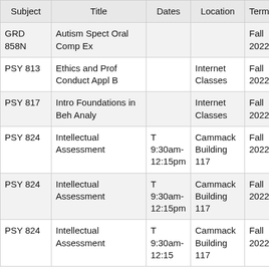| Subject | Title | Dates | Location | Term |
| --- | --- | --- | --- | --- |
| GRD 858N | Autism Spect Oral Comp Ex |  |  | Fall 2022 |
| PSY 813 | Ethics and Prof Conduct Appl B |  | Internet Classes | Fall 2022 |
| PSY 817 | Intro Foundations in Beh Analy |  | Internet Classes | Fall 2022 |
| PSY 824 | Intellectual Assessment | T 9:30am-12:15pm | Cammack Building 117 | Fall 2022 |
| PSY 824 | Intellectual Assessment | T 9:30am-12:15pm | Cammack Building 117 | Fall 2022 |
| PSY 824 | Intellectual Assessment | T 9:30am-12:15pm | Cammack Building 117 | Fall 2022 |